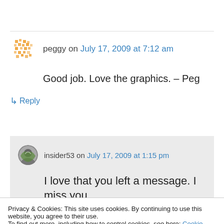peggy on July 17, 2009 at 7:12 am
Good job. Love the graphics. – Peg
↳ Reply
insider53 on July 17, 2009 at 1:15 pm
I love that you left a message. I miss you
Peg
Privacy & Cookies: This site uses cookies. By continuing to use this website, you agree to their use.
To find out more, including how to control cookies, see here: Cookie Policy
Close and accept